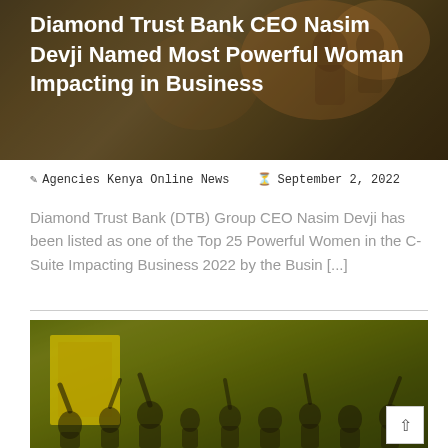[Figure (photo): Dark warm-toned banner image with people in background, overlaid with white title text about Diamond Trust Bank CEO Nasim Devji]
Diamond Trust Bank CEO Nasim Devji Named Most Powerful Woman Impacting in Business
✎ Agencies Kenya Online News   🕐 September 2, 2022
Diamond Trust Bank (DTB) Group CEO Nasim Devji has been listed as one of the Top 25 Powerful Women in the C-Suite Impacting Business 2022 by the Busin [...]
[Figure (photo): Crowd of people with raised fists and arms, yellow-green hued photo, political rally scene with a yellow banner/portrait visible in background]